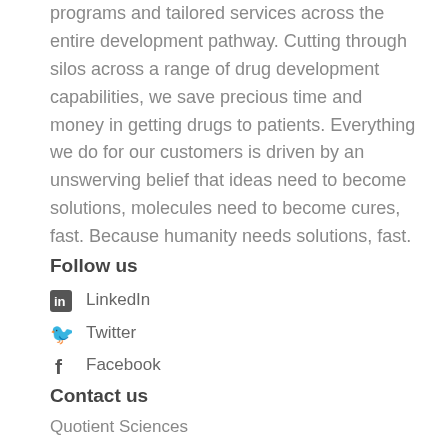programs and tailored services across the entire development pathway. Cutting through silos across a range of drug development capabilities, we save precious time and money in getting drugs to patients. Everything we do for our customers is driven by an unswerving belief that ideas need to become solutions, molecules need to become cures, fast. Because humanity needs solutions, fast.
Follow us
LinkedIn
Twitter
Facebook
Contact us
Quotient Sciences